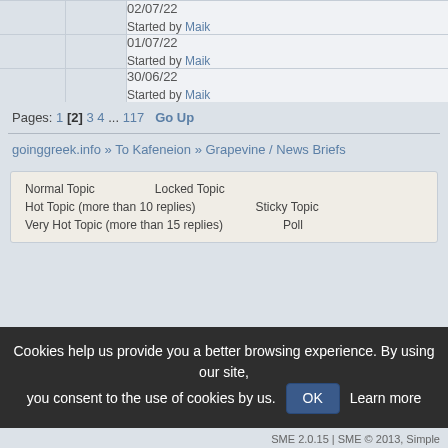| 02/07/22 | Started by Maik |
| 01/07/22 | Started by Maik |
| 30/06/22 | Started by Maik |
Pages: 1 [2] 3 4 ... 117   Go Up
goinggreek.info » To Kafeneion » Grapevine / News Briefs
Normal Topic
Hot Topic (more than 10 replies)
Very Hot Topic (more than 15 replies)
Locked Topic
Sticky Topic
Poll
Cookies help us provide you a better browsing experience. By using our site, you consent to the use of cookies by us. OK Learn more
SME 2.0.15 | SME © 2013, Simple